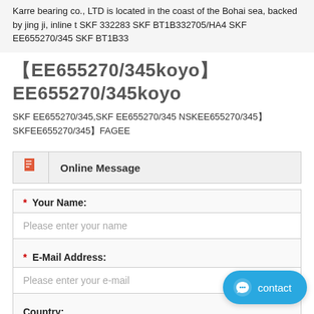Karre bearing co., LTD is located in the coast of the Bohai sea, backed by jing ji, inline t SKF 332283 SKF BT1B332705/HA4 SKF EE655270/345 SKF BT1B33
【EE655270/345koyo】 EE655270/345koyo
SKF EE655270/345,SKF EE655270/345 NSKEE655270/345】SKFEE655270/345】FAGEE
Online Message
* Your Name:
Please enter your name
* E-Mail Address:
Please enter your e-mail
Country: